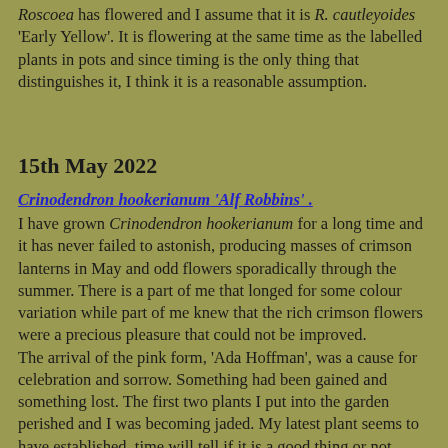Roscoea has flowered and I assume that it is R. cautleyoides 'Early Yellow'. It is flowering at the same time as the labelled plants in pots and since timing is the only thing that distinguishes it, I think it is a reasonable assumption.
15th May 2022
Crinodendron hookerianum 'Alf Robbins' .
I have grown Crinodendron hookerianum for a long time and it has never failed to astonish, producing masses of crimson lanterns in May and odd flowers sporadically through the summer. There is a part of me that longed for some colour variation while part of me knew that the rich crimson flowers were a precious pleasure that could not be improved.
The arrival of the pink form, 'Ada Hoffman', was a cause for celebration and sorrow. Something had been gained and something lost. The first two plants I put into the garden perished and I was becoming jaded. My latest plant seems to have established, time will tell if it is a good thing or not.
Meanwhile seed from 'Ada Hoffman' produced a pure white flowered form called 'Alf Robbins'. I bought some young plants as soon as it became available. One that went straight into the garden